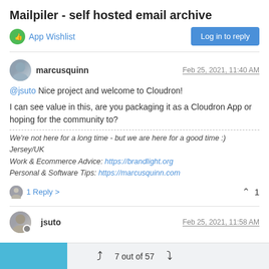Mailpiler - self hosted email archive
App Wishlist
Log in to reply
marcusquinn
Feb 25, 2021, 11:40 AM
@jsuto Nice project and welcome to Cloudron!
I can see value in this, are you packaging it as a Cloudron App or hoping for the community to?
We're not here for a long time - but we are here for a good time :)
Jersey/UK
Work & Ecommerce Advice: https://brandlight.org
Personal & Software Tips: https://marcusquinn.com
1 Reply >
jsuto
Feb 25, 2021, 11:58 AM
7 out of 57